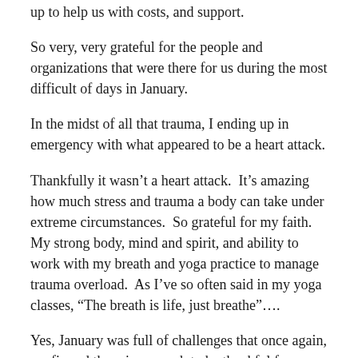up to help us with costs, and support.
So very, very grateful for the people and organizations that were there for us during the most difficult of days in January.
In the midst of all that trauma, I ending up in emergency with what appeared to be a heart attack.
Thankfully it wasn’t a heart attack.  It’s amazing how much stress and trauma a body can take under extreme circumstances.  So grateful for my faith.  My strong body, mind and spirit, and ability to work with my breath and yoga practice to manage trauma overload.  As I’ve so often said in my yoga classes, “The breath is life, just breathe”….
Yes, January was full of challenges that once again, confirmed there is so much to be thankful for.